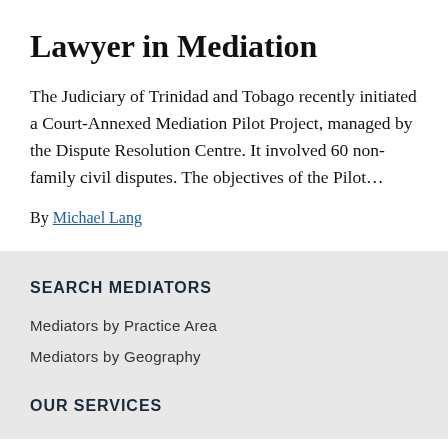Lawyer in Mediation
The Judiciary of Trinidad and Tobago recently initiated a Court-Annexed Mediation Pilot Project, managed by the Dispute Resolution Centre. It involved 60 non-family civil disputes. The objectives of the Pilot…
By Michael Lang
SEARCH MEDIATORS
Mediators by Practice Area
Mediators by Geography
OUR SERVICES